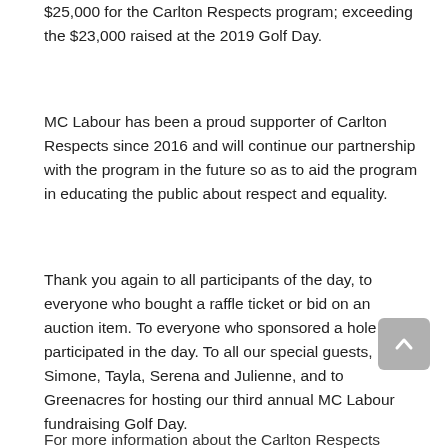$25,000 for the Carlton Respects program; exceeding the $23,000 raised at the 2019 Golf Day.
MC Labour has been a proud supporter of Carlton Respects since 2016 and will continue our partnership with the program in the future so as to aid the program in educating the public about respect and equality.
Thank you again to all participants of the day, to everyone who bought a raffle ticket or bid on an auction item. To everyone who sponsored a hole or participated in the day. To all our special guests, Simone, Tayla, Serena and Julienne, and to Greenacres for hosting our third annual MC Labour fundraising Golf Day.
For more information about the Carlton Respects